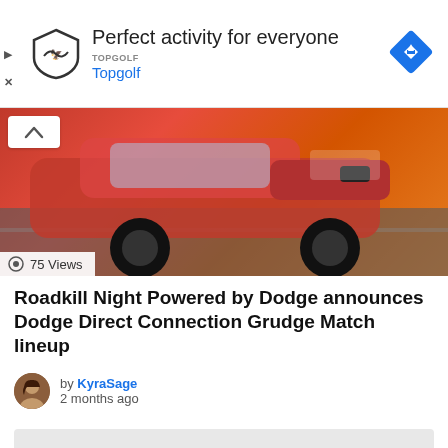[Figure (other): Advertisement banner for Topgolf with logo and navigation icon. Text: 'Perfect activity for everyone' and 'Topgolf' in blue.]
[Figure (photo): Photo of an orange Dodge muscle car on a road surface, viewed from front-left angle. A badge/logo is visible on the windshield area.]
75 Views
Roadkill Night Powered by Dodge announces Dodge Direct Connection Grudge Match lineup
by KyraSage
2 months ago
[Figure (other): Gray advertisement placeholder block with a scroll-up arrow button in the bottom right corner.]